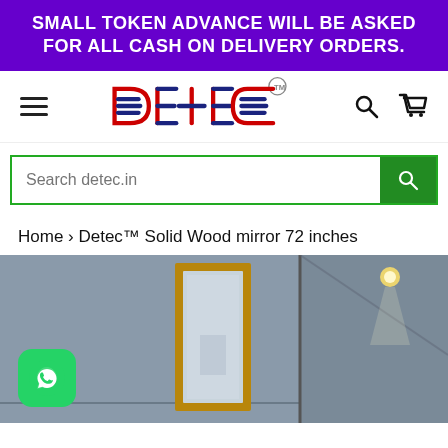SMALL TOKEN ADVANCE WILL BE ASKED FOR ALL CASH ON DELIVERY ORDERS.
[Figure (logo): Detec brand logo with TM symbol, stylized red and blue text on white background, with hamburger menu, search and cart icons]
[Figure (screenshot): Search bar with placeholder text 'Search detec.in' and green search button]
Home › Detec™ Solid Wood mirror 72 inches
[Figure (photo): Product photo showing a gold-framed standing mirror and a wardrobe mirror in a grey room, with WhatsApp chat button overlay at bottom left]